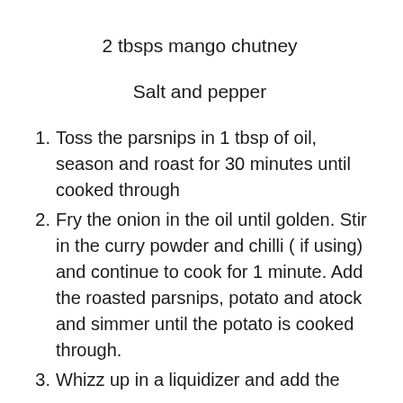2 tbsps mango chutney
Salt and pepper
Toss the parsnips in 1 tbsp of oil, season and roast for 30 minutes until cooked through
Fry the onion in the oil until golden. Stir in the curry powder and chilli ( if using) and continue to cook for 1 minute. Add the roasted parsnips, potato and atock and simmer until the potato is cooked through.
Whizz up in a liquidizer and add the